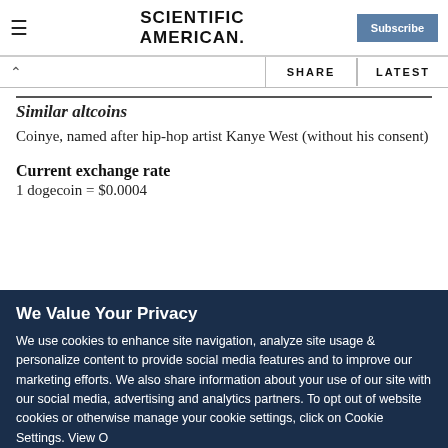Scientific American | Subscribe
Similar altcoins
Coinye, named after hip-hop artist Kanye West (without his consent)
Current exchange rate
1 dogecoin = $0.0004
We Value Your Privacy
We use cookies to enhance site navigation, analyze site usage & personalize content to provide social media features and to improve our marketing efforts. We also share information about your use of our site with our social media, advertising and analytics partners. To opt out of website cookies or otherwise manage your cookie settings, click on Cookie Settings. View O